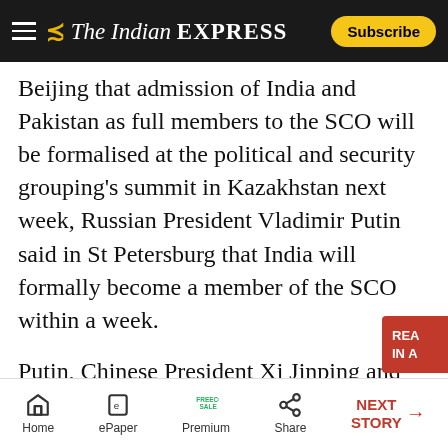The Indian Express — Subscribe
Beijing that admission of India and Pakistan as full members to the SCO will be formalised at the political and security grouping's summit in Kazakhstan next week, Russian President Vladimir Putin said in St Petersburg that India will formally become a member of the SCO within a week.
Putin, Chinese President Xi Jinping and Pakistan Prime Minister Nawaz Sharif are expected to be i[n] Astana, among other leaders from SCO member countries. In Beijing, Chinese foreign ministry spokesperson Hua Chunying said: “The member
Home  ePaper  Premium  Share  NEXT STORY